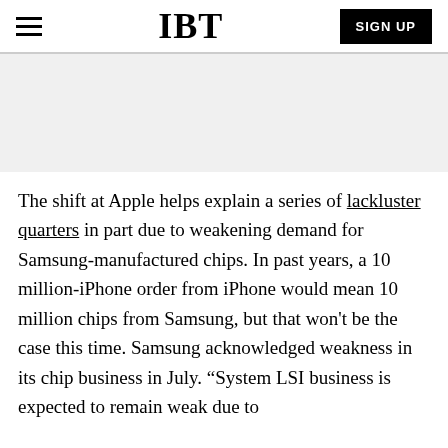IBT
[Figure (other): Advertisement banner placeholder, light gray background]
The shift at Apple helps explain a series of lackluster quarters in part due to weakening demand for Samsung-manufactured chips. In past years, a 10 million-iPhone order from iPhone would mean 10 million chips from Samsung, but that won't be the case this time. Samsung acknowledged weakness in its chip business in July. “System LSI business is expected to remain weak due to